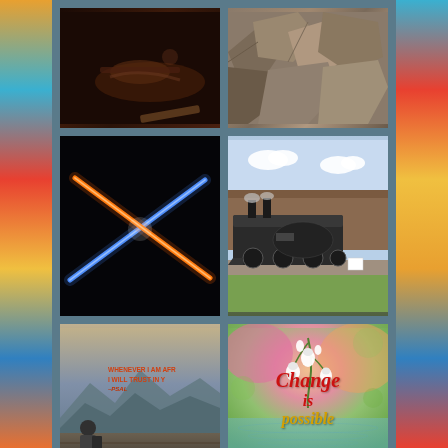[Figure (photo): Dark close-up photo of hands, possibly holding or touching a book or surface, very dark brown tones]
[Figure (photo): Close-up of gray rocks or stone surfaces with rough texture]
[Figure (photo): Two crossed lightsabers — one blue, one orange/yellow — against a black background]
[Figure (photo): Vintage steam locomotive train parked at a station, green grass, blue sky with clouds]
[Figure (photo): Inspirational photo of a person sitting on a ledge overlooking mountains with text: WHENEVER I AM AFR... I WILL TRUST IN Y... -PSAL...]
[Figure (photo): Close-up of white bell-shaped flowers (lily of the valley) with colorful bokeh background and water reflection, text reads: Change is possible]